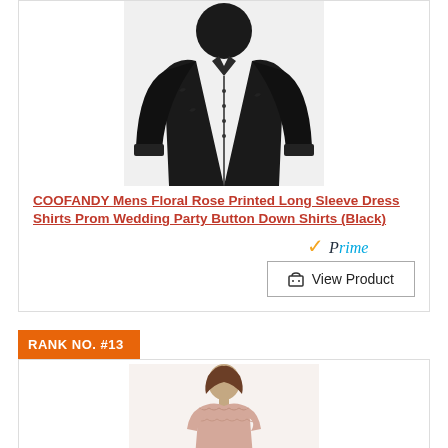[Figure (photo): Black floral rose printed long sleeve men's dress shirt on a model, cropped showing torso.]
COOFANDY Mens Floral Rose Printed Long Sleeve Dress Shirts Prom Wedding Party Button Down Shirts (Black)
[Figure (logo): Amazon Prime logo with orange checkmark and blue Prime text]
View Product
RANK NO. #13
[Figure (photo): Woman wearing a pink/blush lace sleeveless dress, cropped at upper body.]